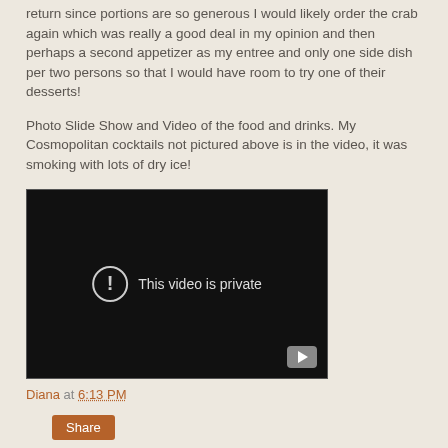return since portions are so generous I would likely order the crab again which was really a good deal in my opinion and then perhaps a second appetizer as my entree and only one side dish per two persons so that I would have room to try one of their desserts!
Photo Slide Show and Video of the food and drinks. My Cosmopolitan cocktails not pictured above is in the video, it was smoking with lots of dry ice!
[Figure (screenshot): Embedded video player showing 'This video is private' message with YouTube logo icon on dark background]
Diana at 6:13 PM
Share